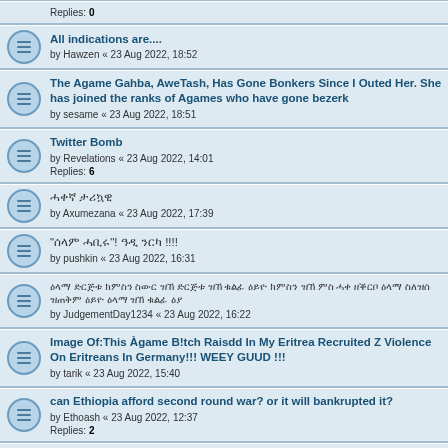All indications are.... by Hawzen « 23 Aug 2022, 18:52
The Agame Gahba, AweTash, Has Gone Bonkers Since I Outed Her. She has joined the ranks of Agames who have gone bezerk by sesame « 23 Aug 2022, 18:51
Twitter Bomb by Revelations « 23 Aug 2022, 14:01 Replies: 6
ሓቀኛ ታሪኳዊ by Axumezana « 23 Aug 2022, 17:39
"ሰላም ሓቢሩ"! ዓዲ ንርካ !!!!  by pushkin « 23 Aug 2022, 16:31
ዕላማ ድርጅቱ ክምስን ስውር ዝኸ ድርጅቱ ዝኸ ቁልፊ ዕይዮ ክምስን ዝኸ ምስ ሓቀ ዘቕርቦ ዕላማ ስለዝሰ ዝጠቅም ዕይዮ ዕላማ ዝኸ ቁልፊ ዕያ by JudgementDay1234 « 23 Aug 2022, 16:22
Image Of:This Àgame B!tch Raisdd In My Eritrea Recruited Z Violence On Eritreans In Germany!!! WEEY GUUD !!! by tarik « 23 Aug 2022, 15:40
can Ethiopia afford second round war? or it will bankrupted it? by Ethoash « 23 Aug 2022, 12:37 Replies: 2
ዓቢ ሐደ ዓ! ዕላማ ዝምዕድዓዓ!! ዕላማ ዕጅ ዓዓ by Horus « 23 Aug 2022, 15:15
Latest Tractors from UNHCR have been delivered to Tigray